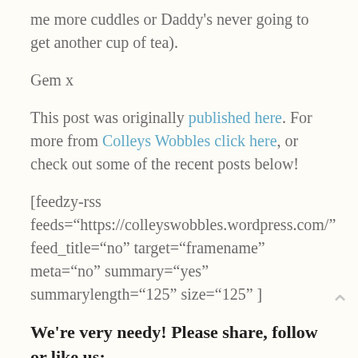me more cuddles or Daddy's never going to get another cup of tea).
Gem x
This post was originally published here. For more from Colleys Wobbles click here, or check out some of the recent posts below!
[feedzy-rss feeds="https://colleyswobbles.wordpress.com/" feed_title="no" target="framename" meta="no" summary="yes" summarylength="125" size="125" ]
We're very needy! Please share, follow or like us: